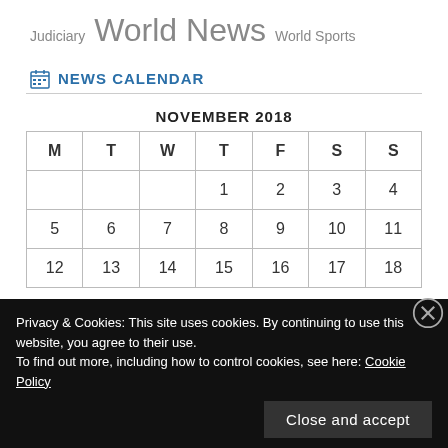Judiciary World News World Sports
NEWS CALENDAR
| M | T | W | T | F | S | S |
| --- | --- | --- | --- | --- | --- | --- |
|  |  |  | 1 | 2 | 3 | 4 |
| 5 | 6 | 7 | 8 | 9 | 10 | 11 |
| 12 | 13 | 14 | 15 | 16 | 17 | 18 |
Privacy & Cookies: This site uses cookies. By continuing to use this website, you agree to their use.
To find out more, including how to control cookies, see here: Cookie Policy
Close and accept